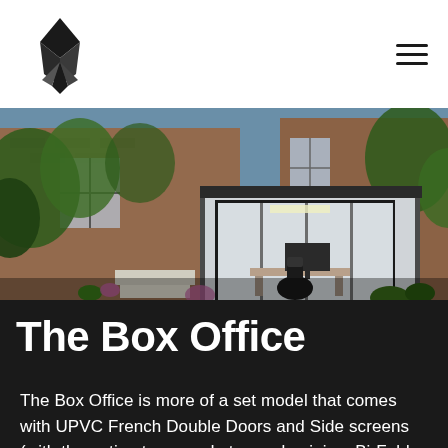The Box Office - logo and navigation
[Figure (photo): Garden and outdoor office pod (The Box Office) with bi-fold sliding glass doors, black framing, interior desk and chair visible, set in a landscaped garden with lawn stepping stones, flowerpots, and a brick Victorian house backdrop.]
The Box Office
The Box Office is more of a set model that comes with UPVC French Double Doors and Side screens (with the option to upgrade to an aluminium Bi-Fold door). However you have